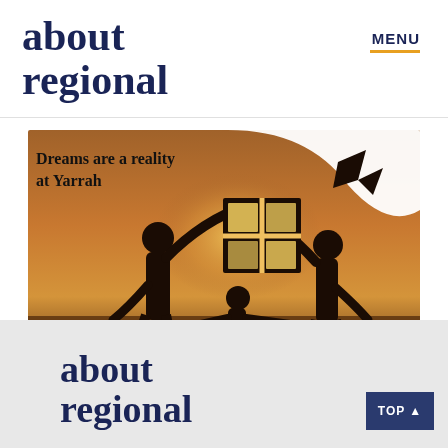about regional | MENU
[Figure (photo): Advertisement banner showing silhouettes of a family (two adults and a child) against a warm sunset sky, holding up a model house frame. Text overlay reads 'Dreams are a reality at Yarrah' and 'Learn More >']
about regional | TOP ▲